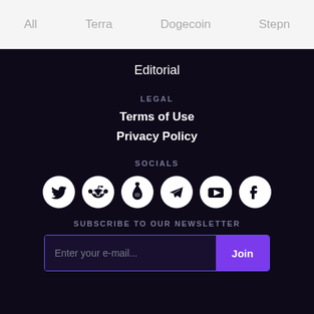All  Terra  Dogecoin  Stepn
Editorial
LEGAL
Terms of Use
Privacy Policy
SOCIALS
[Figure (illustration): Six social media icons in circular buttons: Twitter, Reddit, a bottle/dropper icon, Telegram, YouTube, Facebook]
SUBSCRIBE TO OUR NEWSLETTER
Enter your e-mail...  Join